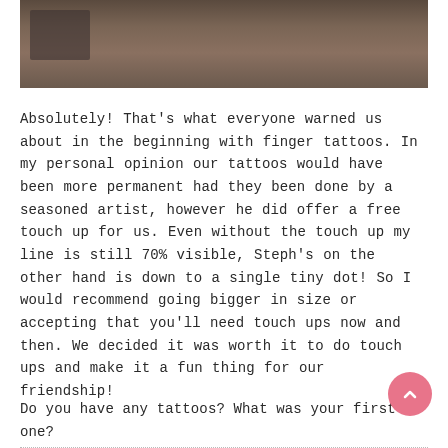[Figure (photo): Partial photo showing a dark/brown textured background, cropped at the top of the page]
Absolutely! That's what everyone warned us about in the beginning with finger tattoos. In my personal opinion our tattoos would have been more permanent had they been done by a seasoned artist, however he did offer a free touch up for us. Even without the touch up my line is still 70% visible, Steph's on the other hand is down to a single tiny dot! So I would recommend going bigger in size or accepting that you'll need touch ups now and then. We decided it was worth it to do touch ups and make it a fun thing for our friendship!
Do you have any tattoos? What was your first one?